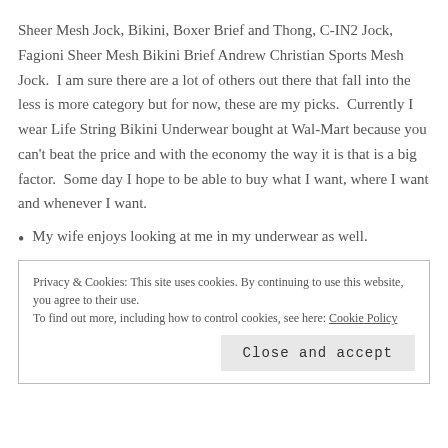Sheer Mesh Jock, Bikini, Boxer Brief and Thong, C-IN2 Jock, Fagioni Sheer Mesh Bikini Brief Andrew Christian Sports Mesh Jock.  I am sure there are a lot of others out there that fall into the less is more category but for now, these are my picks.  Currently I wear Life String Bikini Underwear bought at Wal-Mart because you can't beat the price and with the economy the way it is that is a big factor.  Some day I hope to be able to buy what I want, where I want and whenever I want.
My wife enjoys looking at me in my underwear as well.
Privacy & Cookies: This site uses cookies. By continuing to use this website, you agree to their use.
To find out more, including how to control cookies, see here: Cookie Policy
Close and accept